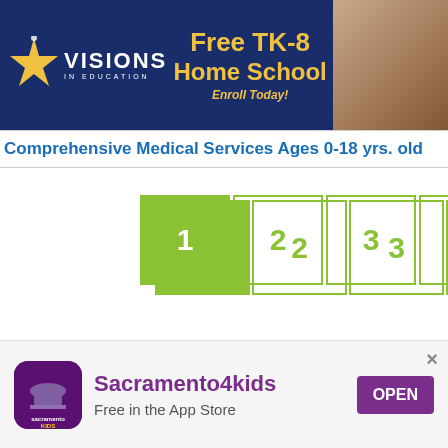[Figure (infographic): Visions In Education banner advertisement with yellow star logo, text 'Free TK-8 Home School Enroll Today!' in yellow on dark blue background, and photo of adult and child]
Comprehensive Medical Services Ages 0-18 yrs. old
1 (current page)
2
3
NEXT →
[Figure (logo): Sacramento Kids logo in white bubble text on purple background]
Sacramento4kids
Free in the App Store
OPEN